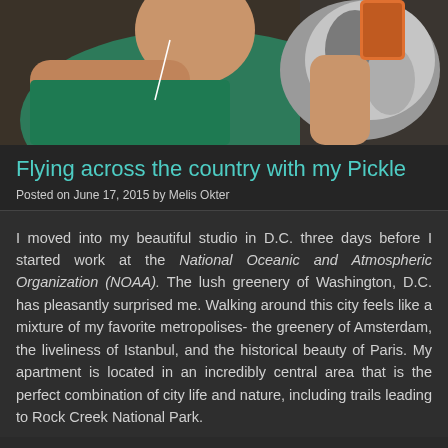[Figure (photo): A person wearing a green sleeveless top with white earphones holding a fluffy cat (partially visible), close-up photo with dark background]
Flying across the country with my Pickle
Posted on June 17, 2015 by Melis Okter
I moved into my beautiful studio in D.C. three days before I started work at the National Oceanic and Atmospheric Organization (NOAA). The lush greenery of Washington, D.C. has pleasantly surprised me. Walking around this city feels like a mixture of my favorite metropolises- the greenery of Amsterdam, the liveliness of Istanbul, and the historical beauty of Paris. My apartment is located in an incredibly central area that is the perfect combination of city life and nature, including trails leading to Rock Creek National Park.